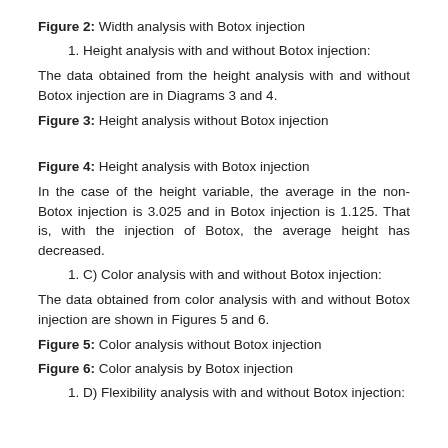Figure 2: Width analysis with Botox injection
1. Height analysis with and without Botox injection:
The data obtained from the height analysis with and without Botox injection are in Diagrams 3 and 4.
Figure 3: Height analysis without Botox injection
Figure 4: Height analysis with Botox injection
In the case of the height variable, the average in the non-Botox injection is 3.025 and in Botox injection is 1.125. That is, with the injection of Botox, the average height has decreased.
1. C) Color analysis with and without Botox injection:
The data obtained from color analysis with and without Botox injection are shown in Figures 5 and 6.
Figure 5: Color analysis without Botox injection
Figure 6: Color analysis by Botox injection
1. D) Flexibility analysis with and without Botox injection: